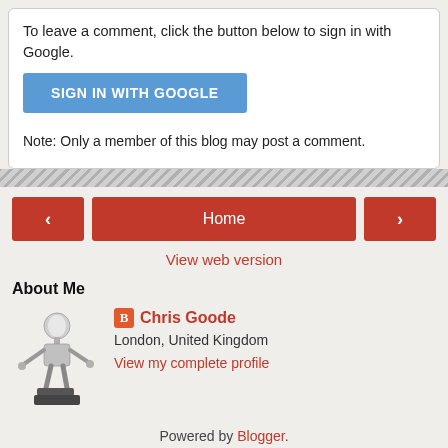To leave a comment, click the button below to sign in with Google.
[Figure (other): Blue 'SIGN IN WITH GOOGLE' button]
Note: Only a member of this blog may post a comment.
[Figure (other): Hatched diagonal stripe divider]
[Figure (other): Navigation bar with left arrow, Home button, right arrow]
View web version
About Me
[Figure (photo): Blogger profile photo: metallic robot/sculpture figure]
Chris Goode
London, United Kingdom
View my complete profile
Powered by Blogger.